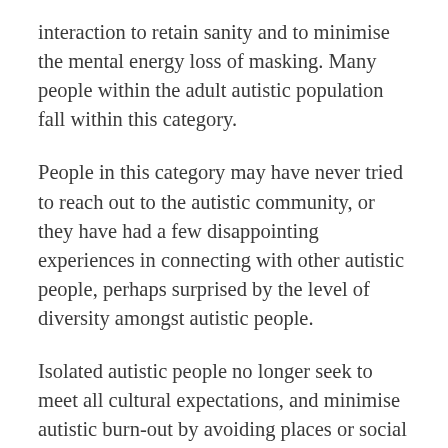interaction to retain sanity and to minimise the mental energy loss of masking. Many people within the adult autistic population fall within this category.
People in this category may have never tried to reach out to the autistic community, or they have had a few disappointing experiences in connecting with other autistic people, perhaps surprised by the level of diversity amongst autistic people.
Isolated autistic people no longer seek to meet all cultural expectations, and minimise autistic burn-out by avoiding places or social contexts that may trigger sensory overload. They are at great risk of economic exploitation and